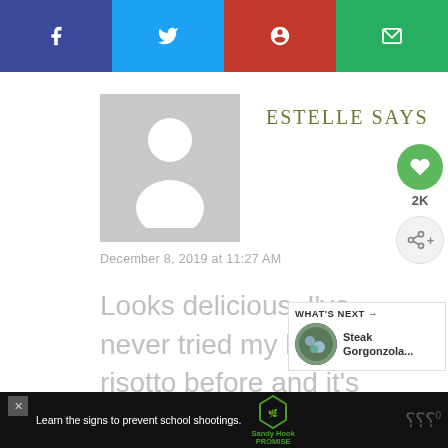[Figure (infographic): Social media sharing bar with Facebook (blue), Twitter (light blue), Pinterest (red), and email (green) buttons with white icons]
[Figure (photo): Gray placeholder avatar silhouette]
ESTELLE SAYS
December 8, 2019 at 11:27 AM
Looks delicious. I've never tried my hand at risotto before and it's on the list!
[Figure (infographic): Green heart like button with 2K count and share button]
[Figure (infographic): What's Next widget showing Steak Gorgonzola...]
[Figure (infographic): Sandy Hook Promise advertisement banner: Learn the signs to prevent school shootings.]